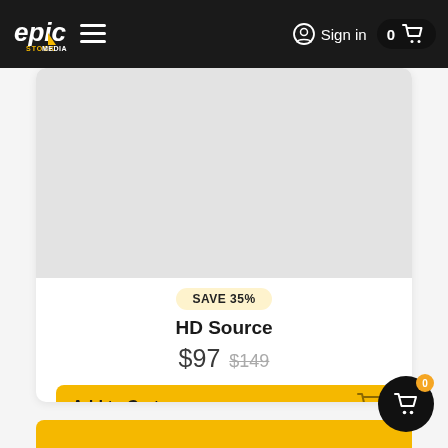[Figure (logo): Epic Stock Media logo - stylized yellow and white lettering on dark background]
Sign in
0
[Figure (photo): Product image placeholder - light grey rectangle]
SAVE 35%
HD Source
$97 $149
Add to Cart
0